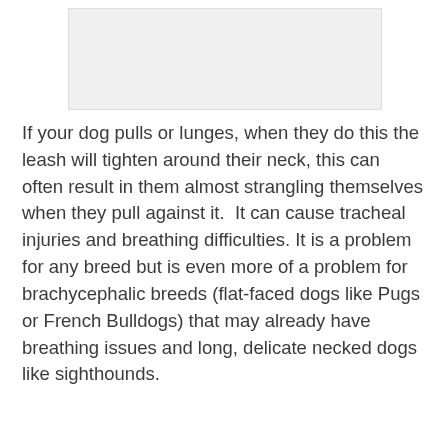[Figure (photo): Light gray placeholder image area at top of page]
If your dog pulls or lunges, when they do this the leash will tighten around their neck, this can often result in them almost strangling themselves when they pull against it.  It can cause tracheal injuries and breathing difficulties. It is a problem for any breed but is even more of a problem for brachycephalic breeds (flat-faced dogs like Pugs or French Bulldogs) that may already have breathing issues and long, delicate necked dogs like sighthounds.